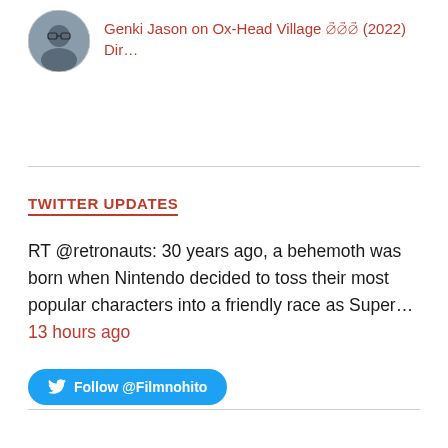[Figure (photo): Circular avatar photo of a person with dark hair and glasses]
Genki Jason on Ox-Head Village 牛頭村 (2022) Dir…
TWITTER UPDATES
RT @retronauts: 30 years ago, a behemoth was born when Nintendo decided to toss their most popular characters into a friendly race as Super… 13 hours ago
Follow @Filmnohito